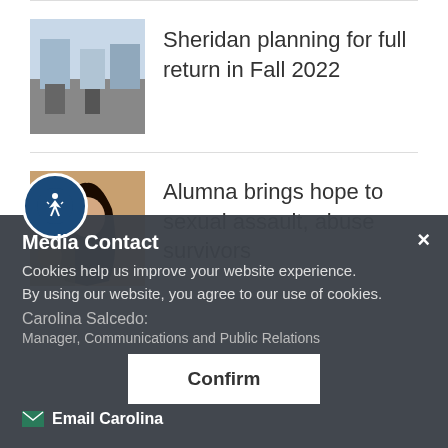[Figure (photo): Thumbnail photo of a building interior, Sheridan campus]
Sheridan planning for full return in Fall 2022
[Figure (photo): Thumbnail photo of a woman with long dark hair]
Alumna brings hope to sexual assault, abuse survivors
Media Contact
Cookies help us improve your website experience.
By using our website, you agree to our use of cookies.
Carolina Salcedo:
Manager, Communications and Public Relations
Email Carolina